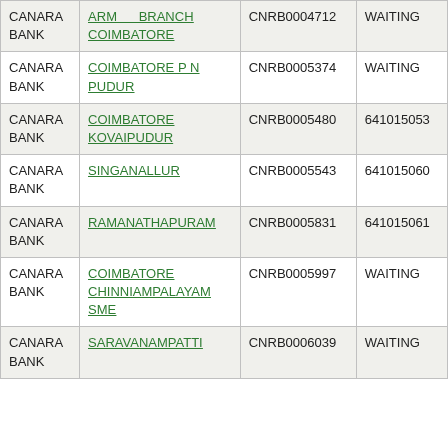| Bank | Branch | IFSC | MICR |
| --- | --- | --- | --- |
| CANARA BANK | ARM BRANCH COIMBATORE | CNRB0004712 | WAITING |
| CANARA BANK | COIMBATORE P N PUDUR | CNRB0005374 | WAITING |
| CANARA BANK | COIMBATORE KOVAIPUDUR | CNRB0005480 | 641015053 |
| CANARA BANK | SINGANALLUR | CNRB0005543 | 641015060 |
| CANARA BANK | RAMANATHAPURAM | CNRB0005831 | 641015061 |
| CANARA BANK | COIMBATORE CHINNIAMPALAYAM SME | CNRB0005997 | WAITING |
| CANARA BANK | SARAVANAMPATTI | CNRB0006039 | WAITING |